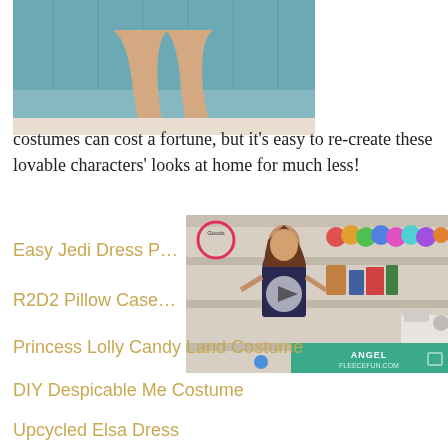[Figure (photo): Photo of person's legs with red shoes sitting against a teal/turquoise wooden background, cropped to show lower body]
costumes can cost a fortune, but it's easy to re-create these lovable characters' looks at home for much less!
[Figure (photo): Video thumbnail showing a woman standing in front of a colorful craft supply shelving unit. Angel FleeceFun.com branding visible. Play button overlay with blue dot progress indicator.]
Easy Jedi Dress P...
R2D2 Pillow Case...
Princess Lolly Candy Land Costume
DIY Despicable Me Costume
Upcycled Elsa Dress